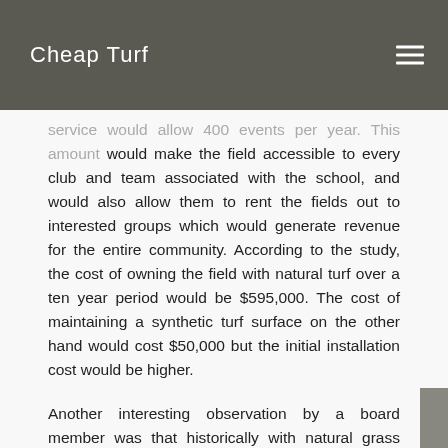Cheap Turf
service would allow 400 events per year. This amount would make the field accessible to every club and team associated with the school, and would also allow them to rent the fields out to interested groups which would generate revenue for the entire community. According to the study, the cost of owning the field with natural turf over a ten year period would be $595,000. The cost of maintaining a synthetic turf surface on the other hand would cost $50,000 but the initial installation cost would be higher.
Another interesting observation by a board member was that historically with natural grass installed, the board has allowed groups to rent the fields out for free, costing taxpayers money.